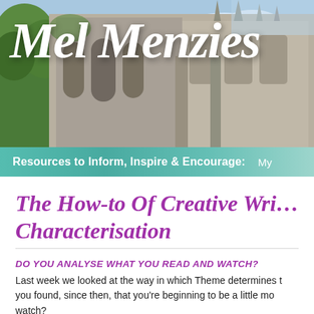[Figure (photo): Website header banner showing a Gothic stone cathedral/building exterior with trees against a blue sky background]
Mel Menzies
Resources to Inform, Inspire & Encourage:  My
The How-to Of Creative Wri... Characterisation
DO YOU ANALYSE WHAT YOU READ AND WATCH?
Last week we looked at the way in which Theme determines t... you found, since then, that you're beginning to be a little mo... watch?